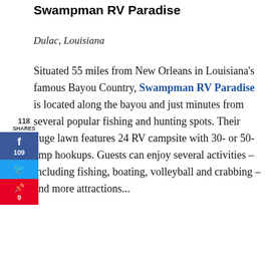Swampman RV Paradise
Dulac, Louisiana
[Figure (infographic): Social media sharing sidebar with Facebook (109 shares), Twitter, and Pinterest (9 shares) buttons, and total 118 shares label.]
Situated 55 miles from New Orleans in Louisiana's famous Bayou Country, Swampman RV Paradise is located along the bayou and just minutes from several popular fishing and hunting spots. Their huge lawn features 24 RV campsite with 30- or 50- amp hookups. Guests can enjoy several activities – including fishing, boating, volleyball and crabbing – and more attractions...